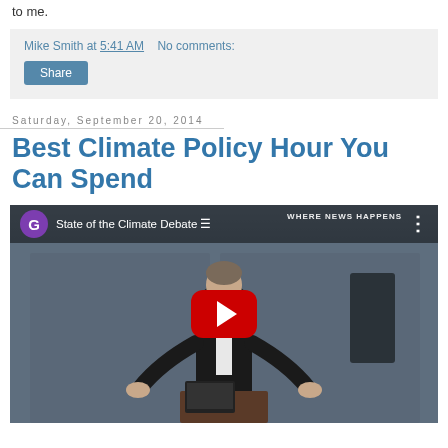to me.
Mike Smith at 5:41 AM   No comments:
Share
Saturday, September 20, 2014
Best Climate Policy Hour You Can Spend
[Figure (screenshot): YouTube video thumbnail showing 'State of the Climate Debate' with a woman speaker at a podium, YouTube play button overlay, channel icon G in purple circle, WHERE NEWS HAPPENS banner text]